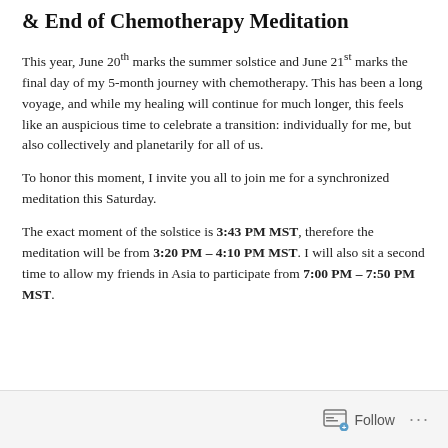& End of Chemotherapy Meditation
This year, June 20th marks the summer solstice and June 21st marks the final day of my 5-month journey with chemotherapy. This has been a long voyage, and while my healing will continue for much longer, this feels like an auspicious time to celebrate a transition: individually for me, but also collectively and planetarily for all of us.
To honor this moment, I invite you all to join me for a synchronized meditation this Saturday.
The exact moment of the solstice is 3:43 PM MST, therefore the meditation will be from 3:20 PM – 4:10 PM MST. I will also sit a second time to allow my friends in Asia to participate from 7:00 PM – 7:50 PM MST.
Follow ...